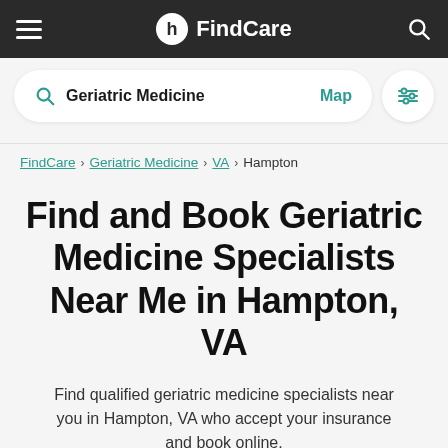FindCare
Geriatric Medicine  Map
FindCare › Geriatric Medicine › VA › Hampton
Find and Book Geriatric Medicine Specialists Near Me in Hampton, VA
Find qualified geriatric medicine specialists near you in Hampton, VA who accept your insurance and book online.